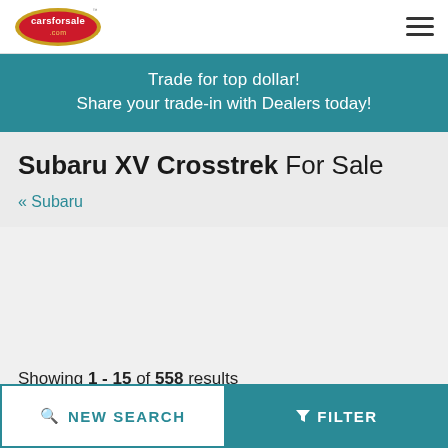carsforsale.com logo and navigation
Trade for top dollar! Share your trade-in with Dealers today!
Subaru XV Crosstrek For Sale
« Subaru
Showing 1 - 15 of 558 results
NEW SEARCH   FILTER